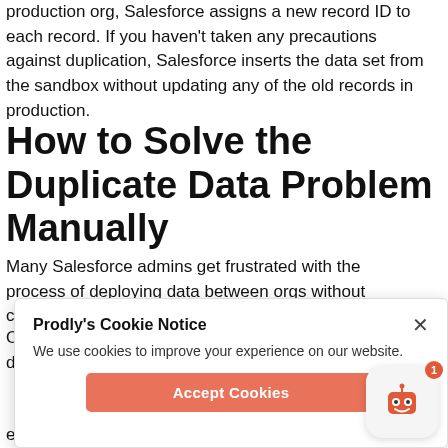production org, Salesforce assigns a new record ID to each record. If you haven't taken any precautions against duplication, Salesforce inserts the data set from the sandbox without updating any of the old records in production.
How to Solve the Duplicate Data Problem Manually
Many Salesforce admins get frustrated with the process of deploying data between orgs without creating duplicate records.
Oftentimes, they assign external IDs to each object in a data set
[Figure (screenshot): Cookie notice dialog overlay with title 'Prodly's Cookie Notice', close button (×), text 'We use cookies to improve your experience on our website.', and a salmon/coral colored 'Accept Cookies' button.]
exclusive automatch feature. When you migrate data, the